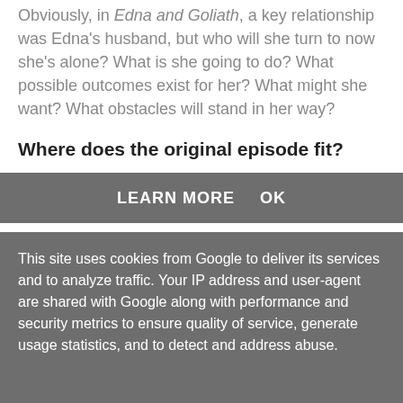Obviously, in Edna and Goliath, a key relationship was Edna's husband, but who will she turn to now she's alone? What is she going to do? What possible outcomes exist for her? What might she want? What obstacles will stand in her way?
Where does the original episode fit?
This site uses cookies from Google to deliver its services and to analyze traffic. Your IP address and user-agent are shared with Google along with performance and security metrics to ensure quality of service, generate usage statistics, and to detect and address abuse.
LEARN MORE   OK